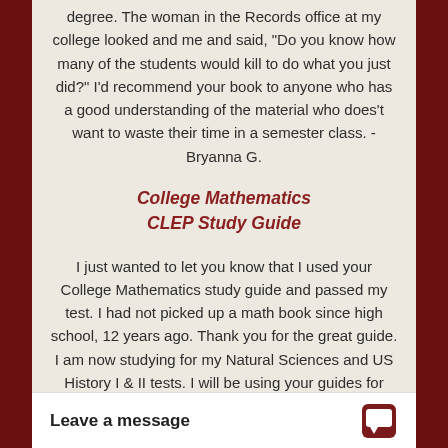degree. The woman in the Records office at my college looked and me and said, "Do you know how many of the students would kill to do what you just did?" I'd recommend your book to anyone who has a good understanding of the material who does't want to waste their time in a semester class. -Bryanna G.
College Mathematics CLEP Study Guide
I just wanted to let you know that I used your College Mathematics study guide and passed my test. I had not picked up a math book since high school, 12 years ago. Thank you for the great guide. I am now studying for my Natural Sciences and US History I & II tests. I will be using your guides for those tests as well. Tha...
Leave a message